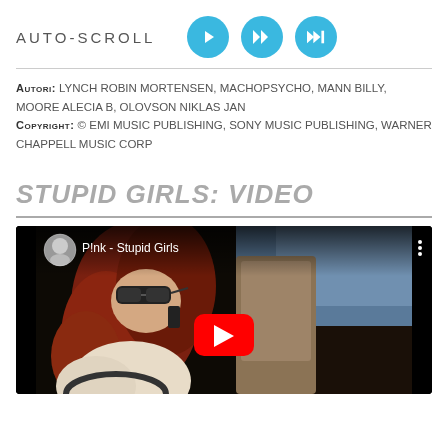AUTO-SCROLL
AUTORI: LYNCH ROBIN MORTENSEN, MACHOPSYCHO, MANN BILLY, MOORE ALECIA B, OLOVSON NIKLAS JAN
COPYRIGHT: © EMI MUSIC PUBLISHING, SONY MUSIC PUBLISHING, WARNER CHAPPELL MUSIC CORP
STUPID GIRLS: VIDEO
[Figure (screenshot): YouTube video embed showing P!nk - Stupid Girls music video thumbnail. A woman with red/auburn hair wearing sunglasses is sitting in a car. The YouTube player interface is visible with channel avatar, video title 'P!nk - Stupid Girls', three-dot menu, and red YouTube play button in the center.]